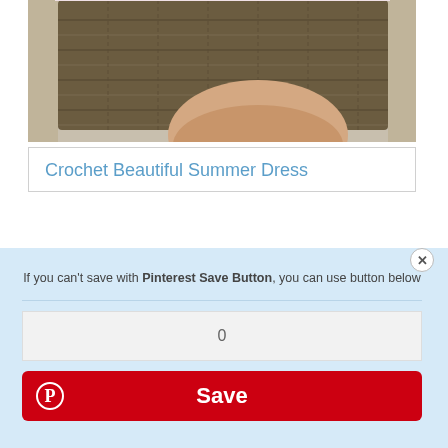[Figure (photo): Close-up of a brown knitted garment sleeve/shoulder with a person's arm visible]
Crochet Beautiful Summer Dress
If you can't save with Pinterest Save Button, you can use button below
[Figure (screenshot): Pinterest save popup with input field showing 0 and a red Save button with Pinterest logo]
[Figure (photo): Woman smiling with FREE PATTERN hexagon badge visible, pink background]